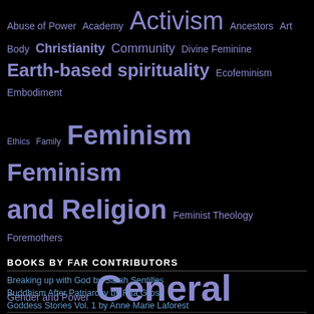[Figure (infographic): Tag cloud of topics related to feminism and religion, displayed in varying font sizes and a purple/blue color scheme on black background. Topics include: Abuse of Power, Academy, Activism, Ancestors, Art, Body, Christianity, Community, Divine Feminine, Earth-based spirituality, Ecofeminism, Embodiment, Ethics, Family, Feminism, Feminism and Religion, Feminist Theology, Foremothers, Gender and Power, General, Goddess, Goddess Spirituality, Healing, Nature, Patriarchy, Politics, Social Justice, Spirituality, Women's Spirituality, Women's Voices]
BOOKS BY FAR CONTRIBUTORS
Breaking up with God by Sarah Sentilles
Buddhism After Patriarchy by Rita Gross
Goddess Stories Vol. 1 by Anne Marie Laforest